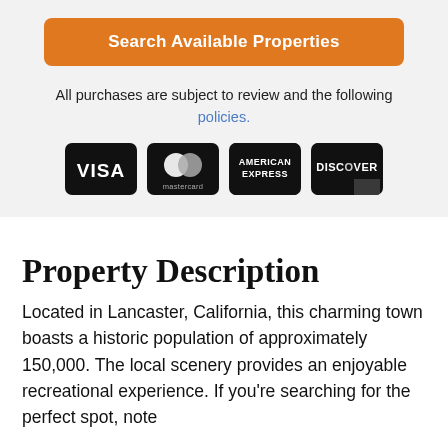Search Available Properties
All purchases are subject to review and the following policies.
[Figure (logo): Payment method logos: Visa, Mastercard, American Express, Discover on black rounded square backgrounds]
Property Description
Located in Lancaster, California, this charming town boasts a historic population of approximately 150,000. The local scenery provides an enjoyable recreational experience. If you're searching for the perfect spot, note